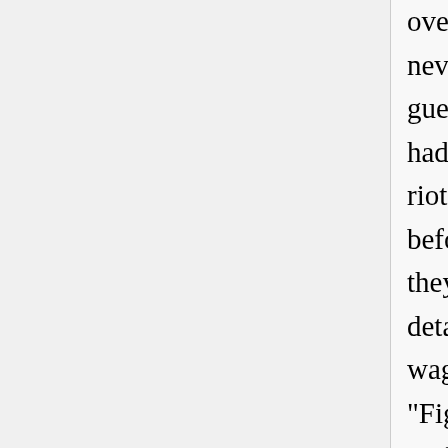over ... The cops were totally humiliated. This never, ever happened. They were angrier than I guess they had ever been, because everybody else had rioted ... but the fairies were not supposed to riot ... no group had ever forced cops to retreat before, so the anger was just enormous. I mean, they wanted to kill."[102] With larger numbers, police detained anyone they could and put them in patrol wagons to go to jail, though Inspector Pine recalled, "Fights erupted with the transvestites, who wouldn't go into the patrol wagon." His recollection was corroborated by another witness across the street who said, "All I could see about who was fighting was that it was transvestites and they were fighting furiously."[103]

The TPF formed a phalanx and